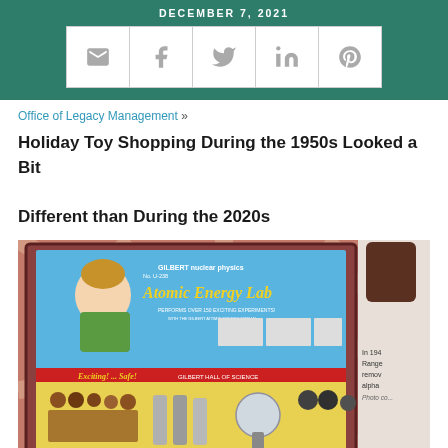DECEMBER 7, 2021
[Figure (other): Row of social share icons: email, Facebook, Twitter, LinkedIn, Pinterest]
Office of Legacy Management »
Holiday Toy Shopping During the 1950s Looked a Bit Different than During the 2020s
[Figure (photo): Photo of the Gilbert U-238 Atomic Energy Lab toy kit from 1950, showing the open box with 'GILBERT nuclear physics Atomic Energy Lab' label, various scientific-looking instruments, and text 'Exciting!...Safe! Gilbert Hall of Science'. A partial sidebar reads: 'In 194... Ranger... remov... alpha... Photo co...']